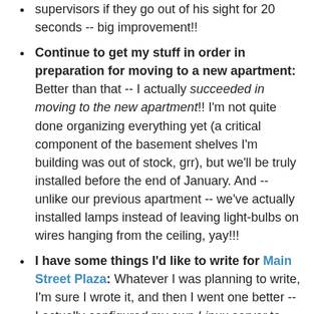supervisors if they go out of his sight for 20 seconds -- big improvement!!
Continue to get my stuff in order in preparation for moving to a new apartment: Better than that -- I actually succeeded in moving to the new apartment!! I'm not quite done organizing everything yet (a critical component of the basement shelves I'm building was out of stock, grr), but we'll be truly installed before the end of January. And -- unlike our previous apartment -- we've actually installed lamps instead of leaving light-bulbs on wires hanging from the ceiling, yay!!!
I have some things I'd like to write for Main Street Plaza: Whatever I was planning to write, I'm sure I wrote it, and then I went one better -- I actually configured my own Linux server to host Main Street Plaza and my other sites!! My sites may not look like much at the moment, but it's like with organizing the apartment: you have to